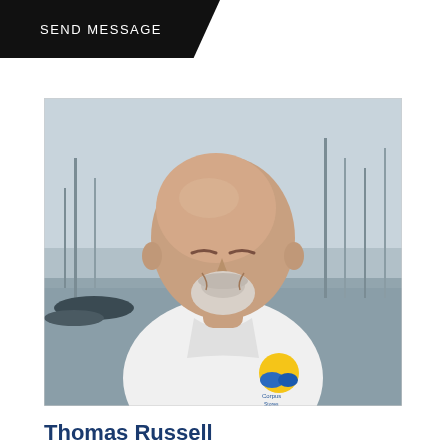SEND MESSAGE
[Figure (photo): Portrait photo of Thomas Russell, a bald older man with a white goatee, smiling, wearing a white collared shirt with a Corpus Stores logo, standing at a marina with sailboat masts in the background.]
Thomas Russell